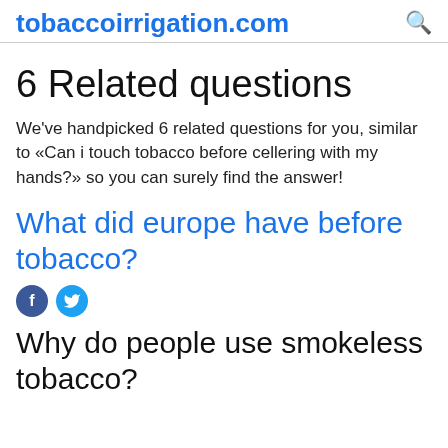tobaccoirrigation.com
6 Related questions
We've handpicked 6 related questions for you, similar to «Can i touch tobacco before cellering with my hands?» so you can surely find the answer!
What did europe have before tobacco?
[Figure (other): Facebook and Twitter social share icons]
Why do people use smokeless tobacco?